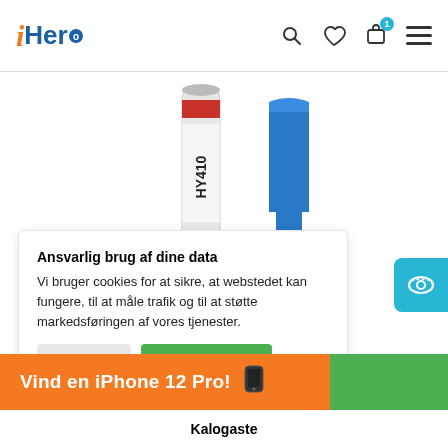iHero — navigation header with search, heart, bag (1), and menu icons
[Figure (photo): Product image showing a tube of HY410 thermal compound/paste and a blue silicone spatula/spreader on white background]
Ansvarlig brug af dine data
Vi bruger cookies for at sikre, at webstedet kan fungere, til at måle trafik og til at støtte markedsføringen af vores tjenester.
Vind en iPhone 12 Pro!
Kalogaste